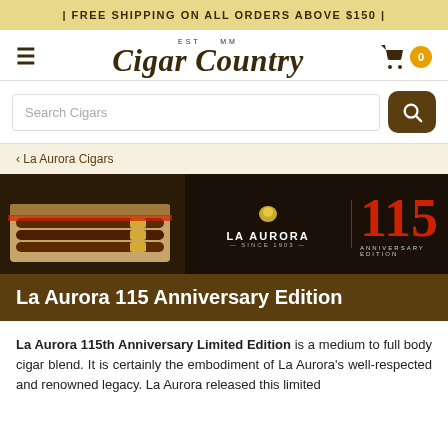| FREE SHIPPING ON ALL ORDERS ABOVE $150 |
[Figure (logo): Cigar Country logo with EST MM tagline, hamburger menu icon, and shopping cart with badge showing 0]
[Figure (photo): La Aurora 115 Anniversary Edition product banner showing a box of cigars on the left and the La Aurora brand logo with 115 Anniversary Edition text on a dark background]
La Aurora 115 Anniversary Edition
La Aurora 115th Anniversary Limited Edition is a medium to full body cigar blend. It is certainly the embodiment of La Aurora's well-respected and renowned legacy. La Aurora released this limited